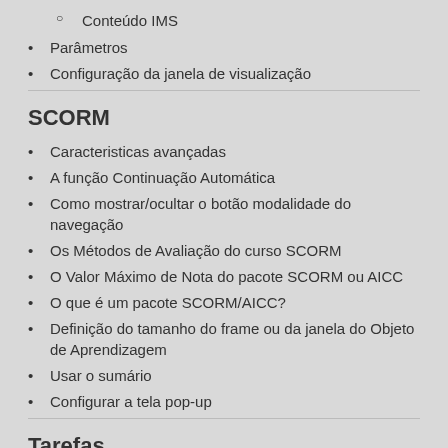Conteúdo IMS
Parâmetros
Configuração da janela de visualização
SCORM
Caracteristicas avançadas
A função Continuação Automática
Como mostrar/ocultar o botão modalidade do navegação
Os Métodos de Avaliação do curso SCORM
O Valor Máximo de Nota do pacote SCORM ou AICC
O que é um pacote SCORM/AICC?
Definição do tamanho do frame ou da janela do Objeto de Aprendizagem
Usar o sumário
Configurar a tela pop-up
Tarefas
Tipo de Tarefa